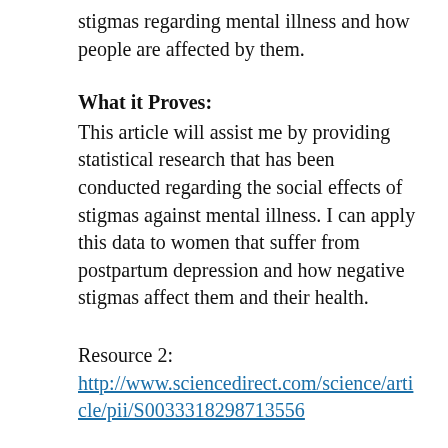stigmas regarding mental illness and how people are affected by them.
What it Proves:
This article will assist me by providing statistical research that has been conducted regarding the social effects of stigmas against mental illness. I can apply this data to women that suffer from postpartum depression and how negative stigmas affect them and their health.
Resource 2:
http://www.sciencedirect.com/science/article/pii/S0033318298713556